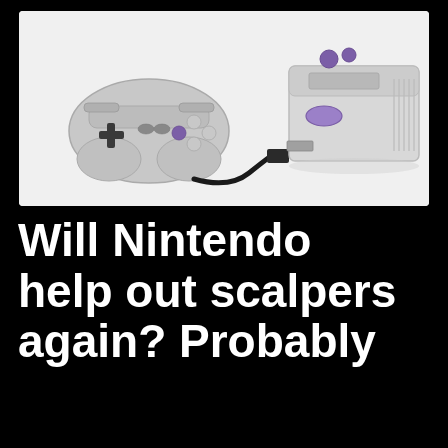[Figure (photo): Photo of a light gray SNES-style gaming console with purple buttons and a matching SNES controller connected by a black cable, displayed on a white background.]
Will Nintendo help out scalpers again? Probably